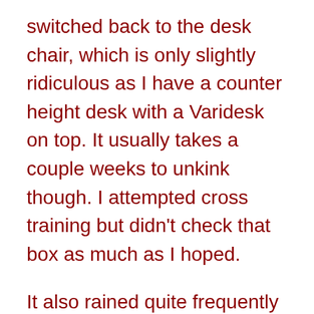switched back to the desk chair, which is only slightly ridiculous as I have a counter height desk with a Varidesk on top. It usually takes a couple weeks to unkink though. I attempted cross training but didn’t check that box as much as I hoped.
It also rained quite frequently which put a damper on some of my runs.
I did sign up for 2 more races though. I also finally got my tires rotated. Oh and I paid off my bed so there were plenty of positive things too.